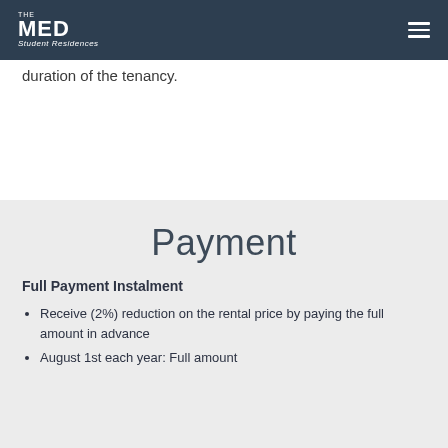THE MED Student Residences
duration of the tenancy.
Payment
Full Payment Instalment
Receive (2%) reduction on the rental price by paying the full amount in advance
August 1st each year: Full amount